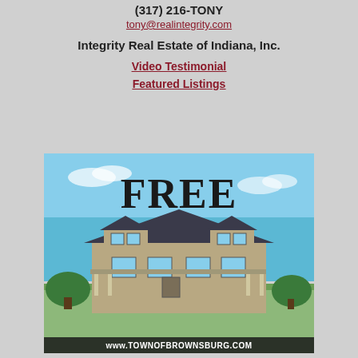(317) 216-TONY
tony@realintegrity.com
Integrity Real Estate of Indiana, Inc.
Video Testimonial
Featured Listings
[Figure (photo): Advertisement image showing a large suburban home with blue sky background. Text reads 'FREE HOME VALUE ESTIMATE!' and at the bottom 'www.TOWNOFBROWNSBURG.COM']